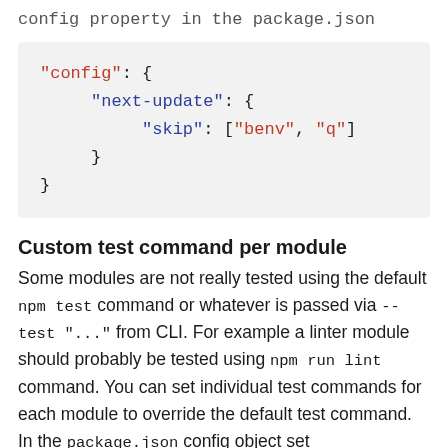config property in the package.json
"config": {
    "next-update": {
        "skip": ["benv", "q"]
    }
}
Custom test command per module
Some modules are not really tested using the default npm test command or whatever is passed via --test "..." from CLI. For example a linter module should probably be tested using npm run lint command. You can set individual test commands for each module to override the default test command. In the package.json config object set